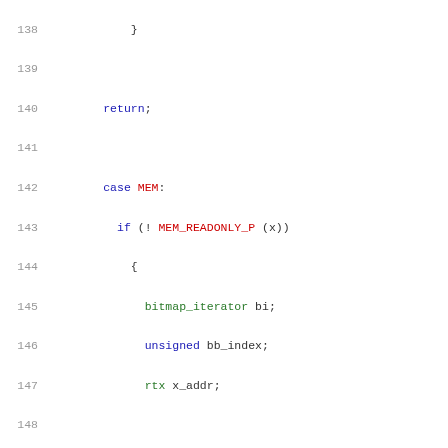Source code listing lines 138-159, showing C code with syntax highlighting including case MEM, bitmap_iterator, MEM_READONLY_P, get_addr, canon_rtx, EXECUTE_IF_SET_IN_BITMAP, bitmap_clear_bit functions